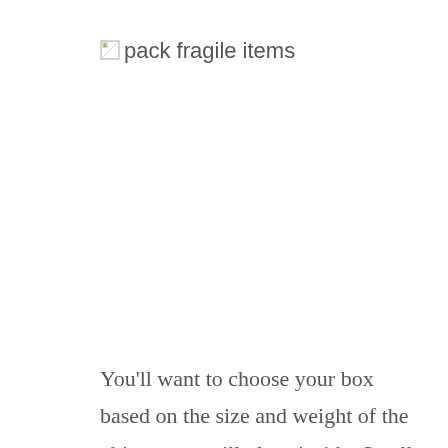[Figure (other): Broken/missing image placeholder with alt text 'pack fragile items']
You'll want to choose your box based on the size and weight of the objects you will place inside. Small boxes will work best for heavy items, and bigger boxes will work better for larger lighter items. If you have the original